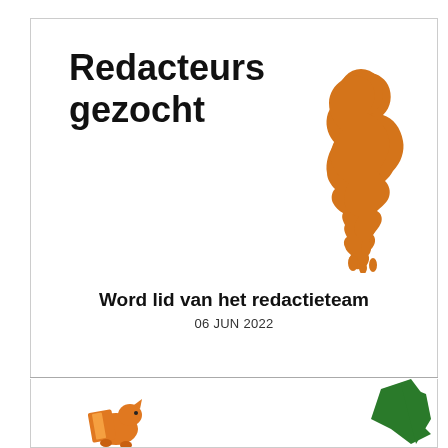Redacteurs gezocht
[Figure (illustration): Orange silhouette of a person looking upward, with dripping/melting effect at the bottom]
Word lid van het redactieteam
06 JUN 2022
[Figure (illustration): Orange squirrel illustration on the left and partial green bird/animal illustration on the right, bottom section]